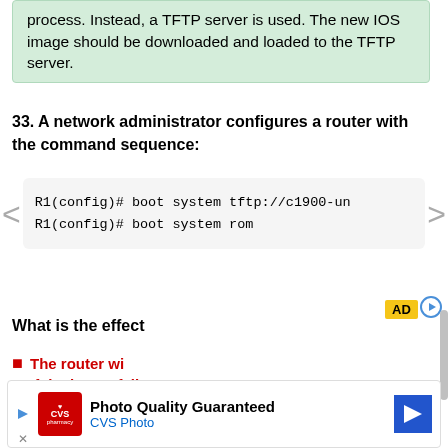process. Instead, a TFTP server is used. The new IOS image should be downloaded and loaded to the TFTP server.
33. A network administrator configures a router with the command sequence:
R1(config)# boot system tftp://c1900-un...
R1(config)# boot system rom
What is the effect
The router wi... If the image fails... image from ROM
The router will ... in the sequence of flash, TFTP, and ROM.
[Figure (other): CVS Photo advertisement banner]